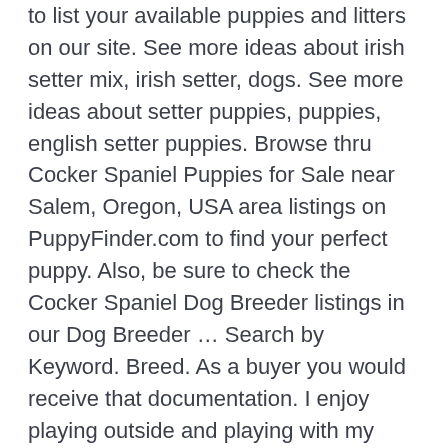to list your available puppies and litters on our site. See more ideas about irish setter mix, irish setter, dogs. See more ideas about setter puppies, puppies, english setter puppies. Browse thru Cocker Spaniel Puppies for Sale near Salem, Oregon, USA area listings on PuppyFinder.com to find your perfect puppy. Also, be sure to check the Cocker Spaniel Dog Breeder listings in our Dog Breeder … Search by Keyword. Breed. As a buyer you would receive that documentation. I enjoy playing outside and playing with my toys. Mix for adoption - … The exact origin of the Irish Setter is unknown, but it is most likely a cross between the English Setter, Spaniels and Pointers